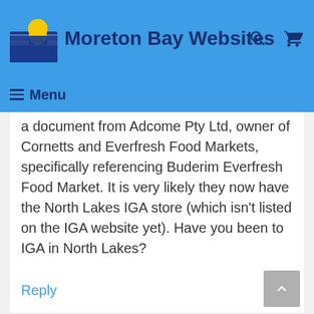Moreton Bay Websites
a document from Adcome Pty Ltd, owner of Cornetts and Everfresh Food Markets, specifically referencing Buderim Everfresh Food Market. It is very likely they now have the North Lakes IGA store (which isn't listed on the IGA website yet). Have you been to IGA in North Lakes?
Reply